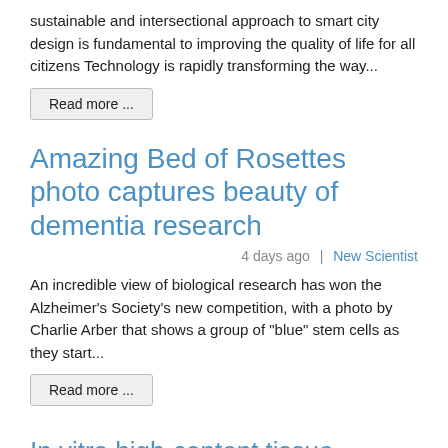sustainable and intersectional approach to smart city design is fundamental to improving the quality of life for all citizens Technology is rapidly transforming the way...
Read more ...
Amazing Bed of Rosettes photo captures beauty of dementia research
4 days ago  |  New Scientist
An incredible view of biological research has won the Alzheimer's Society's new competition, with a photo by Charlie Arber that shows a group of "blue" stem cells as they start...
Read more ...
In vitro high-content tissue models to address precision medicine challenges
4 days ago  |  Harvard
[Figure (photo): Small thumbnail image of a scientific figure or document]